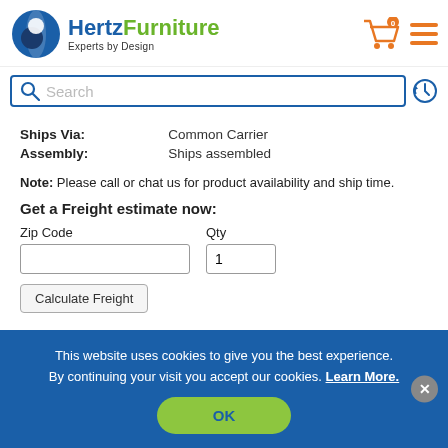[Figure (logo): Hertz Furniture logo with blue circle icon, 'Hertz' in blue bold, 'Furniture' in green, and tagline 'Experts by Design']
[Figure (screenshot): Search bar with magnifying glass icon and placeholder text 'Search', with a history/clock icon to the right]
| Ships Via: | Common Carrier |
| Assembly: | Ships assembled |
Note: Please call or chat us for product availability and ship time.
Get a Freight estimate now:
Zip Code  Qty  1  [Calculate Freight]
This website uses cookies to give you the best experience. By continuing your visit you accept our cookies. Learn More.
OK